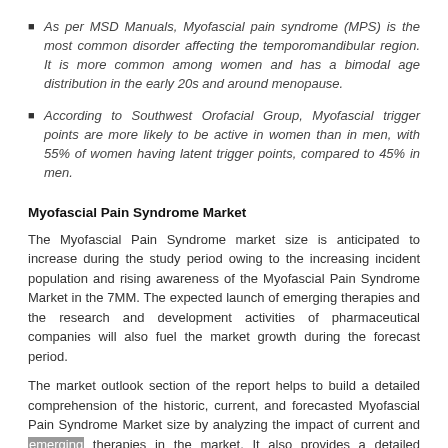As per MSD Manuals, Myofascial pain syndrome (MPS) is the most common disorder affecting the temporomandibular region. It is more common among women and has a bimodal age distribution in the early 20s and around menopause.
According to Southwest Orofacial Group, Myofascial trigger points are more likely to be active in women than in men, with 55% of women having latent trigger points, compared to 45% in men.
Myofascial Pain Syndrome Market
The Myofascial Pain Syndrome market size is anticipated to increase during the study period owing to the increasing incident population and rising awareness of the Myofascial Pain Syndrome Market in the 7MM. The expected launch of emerging therapies and the research and development activities of pharmaceutical companies will also fuel the market growth during the forecast period.
The market outlook section of the report helps to build a detailed comprehension of the historic, current, and forecasted Myofascial Pain Syndrome Market size by analyzing the impact of current and emerging therapies in the market. It also provides a detailed assessment of the